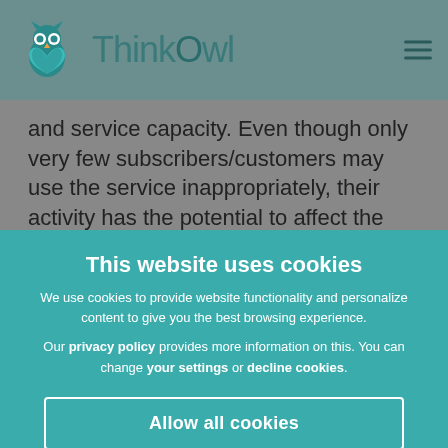ThinkOwl
and service capacity. Even though only very few subscribers/customers may use the service inappropriately, their activity has the potential to affect the service for others. Our FUP manages the inappropriate use and makes sure the service can be
This website uses cookies
We use cookies to provide website functionality and personalize content to give you the best browsing experience.
Our privacy policy provides more information on this. You can change your settings or decline cookies.
Allow all cookies